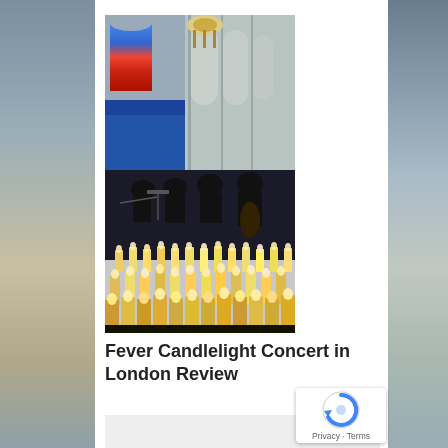[Figure (photo): A candlelight concert in a Gothic cathedral. Musicians are seated and playing string instruments in the middle of the frame. Behind them are tall Gothic arches and a stained glass window on the left. In the foreground are rows of glowing candles. A chandelier hangs from above.]
Fever Candlelight Concert in London Review
[Figure (screenshot): Bottom strip of a web page, light grey background, partially visible.]